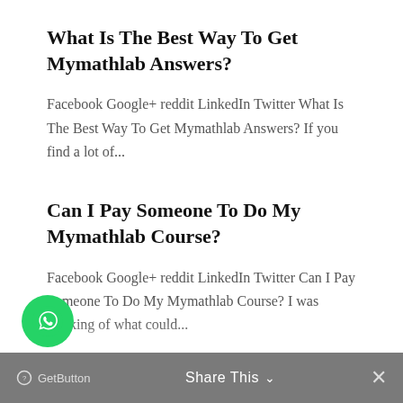What Is The Best Way To Get Mymathlab Answers?
Facebook Google+ reddit LinkedIn Twitter What Is The Best Way To Get Mymathlab Answers? If you find a lot of...
Can I Pay Someone To Do My Mymathlab Course?
Facebook Google+ reddit LinkedIn Twitter Can I Pay Someone To Do My Mymathlab Course? I was thinking of what could...
Where Can I Find Access Codes For Mymathlab?
Share This